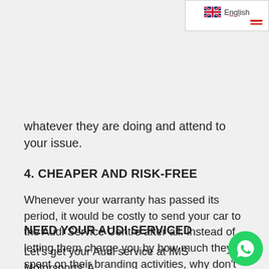English
whatever they are doing and attend to your issue.
4. CHEAPER AND RISK-FREE
Whenever your warranty has passed its period, it would be costly to send your car to the Audi Service Centre after all. Instead of letting them charge you by how much they spent on their branding activities, why don't send to IMS Motorsports that invest in our expertise?
NEED YOUR AUDI SERVICED
Let's get your Audi service at IMS Motorsports' Audi Service Centre in Malaysia! Contact +603-5611 0571